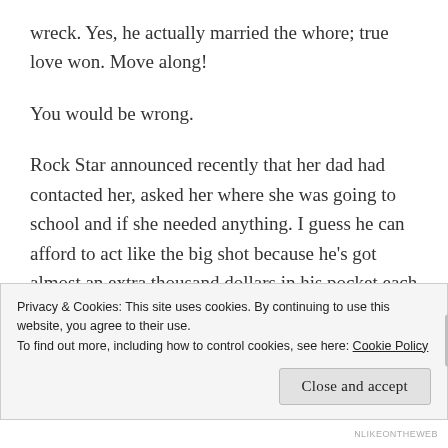wreck. Yes, he actually married the whore; true love won. Move along!
You would be wrong.
Rock Star announced recently that her dad had contacted her, asked her where she was going to school and if she needed anything. I guess he can afford to act like the big shot because he's got almost an extra thousand dollars in his pocket each month now. He ended up sending her $200 so she could buy
Privacy & Cookies: This site uses cookies. By continuing to use this website, you agree to their use.
To find out more, including how to control cookies, see here: Cookie Policy
Close and accept